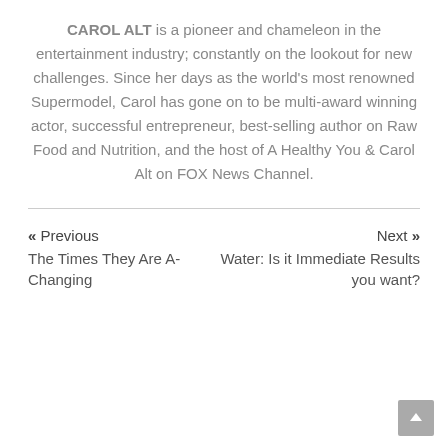CAROL ALT is a pioneer and chameleon in the entertainment industry; constantly on the lookout for new challenges. Since her days as the world's most renowned Supermodel, Carol has gone on to be multi-award winning actor, successful entrepreneur, best-selling author on Raw Food and Nutrition, and the host of A Healthy You & Carol Alt on FOX News Channel.
« Previous
The Times They Are A-Changing
Next »
Water: Is it Immediate Results you want?